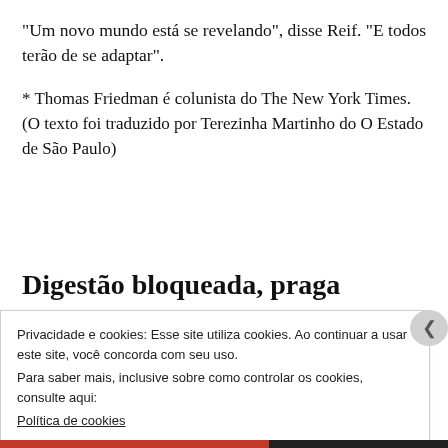“Um novo mundo está se revelando”, disse Reif. “E todos terão de se adaptar”.
* Thomas Friedman é colunista do The New York Times. (O texto foi traduzido por Terezinha Martinho do O Estado de São Paulo)
Digestão bloqueada, praga
Privacidade e cookies: Esse site utiliza cookies. Ao continuar a usar este site, você concorda com seu uso.
Para saber mais, inclusive sobre como controlar os cookies, consulte aqui:
Política de cookies
Fechar e aceitar